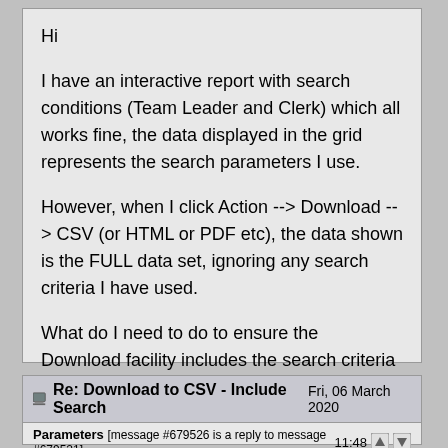Hi

I have an interactive report with search conditions (Team Leader and Clerk) which all works fine, the data displayed in the grid represents the search parameters I use.

However, when I click Action --> Download --> CSV (or HTML or PDF etc), the data shown is the FULL data set, ignoring any search criteria I have used.

What do I need to do to ensure the Download facility includes the search criteria used on the grid?

Thanks in Advance
Report message to a moderator
[Figure (screenshot): Action bar with profile, pm, reply, and quote buttons]
Re: Download to CSV - Include Search Parameters
[message #679526 is a reply to message #679521]
Fri, 06 March 2020  11:48